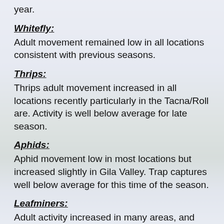year.
Whitefly:
Adult movement remained low in all locations consistent with previous seasons.
Thrips:
Thrips adult movement increased in all locations recently particularly in the Tacna/Roll are. Activity is well below average for late season.
Aphids:
Aphid movement low in most locations but increased slightly in Gila Valley. Trap captures well below average for this time of the season.
Leafminers:
Adult activity increased in many areas, and below average for this time of season.